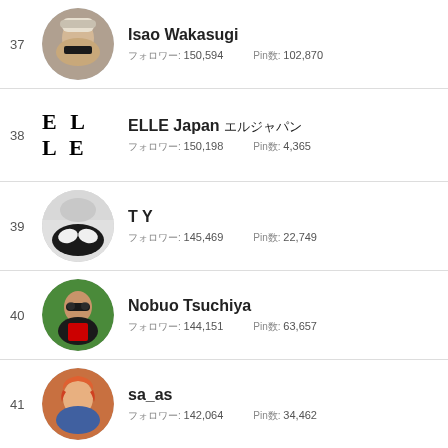37 Isao Wakasugi フォロワー: 150,594 Pin数: 102,870
38 ELLE Japan エルジャパン フォロワー: 150,198 Pin数: 4,365
39 T Y フォロワー: 145,469 Pin数: 22,749
40 Nobuo Tsuchiya フォロワー: 144,151 Pin数: 63,657
41 sa_as フォロワー: 142,064 Pin数: 34,462